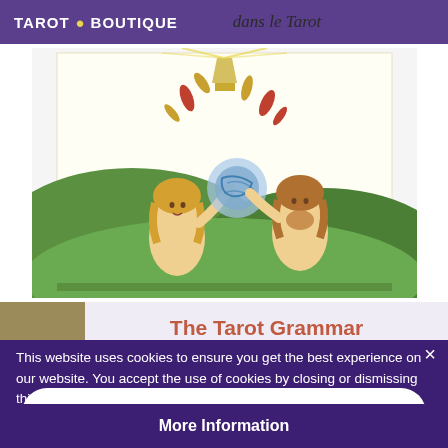TAROT . BOUTIQUE — dans le Tarot
[Figure (illustration): Tarot card illustration showing two figures (The World/Le Monde or similar) with a glowing orb between them, set against a green landscape with a lamp above]
The Tarot Grammar
Thanks to the Tarot Secret Codes, Philippe Camoin reveals a grammar and a lexicon of the Tarot. The
This website uses cookies to ensure you get the best experience on our website. You accept the use of cookies by closing or dismissing this notice, by clicking a link or button or by continuing to browse otherwise.
Accept
More Information